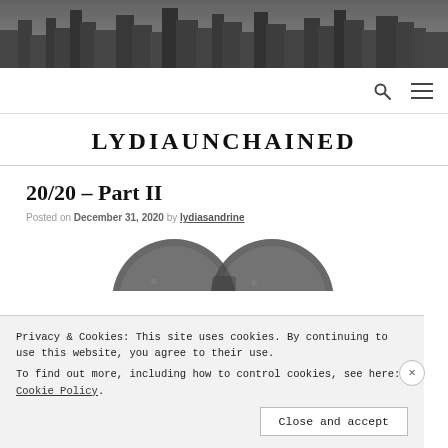[Figure (photo): Black and white cityscape/skyline photograph used as page header banner]
LYDIAUNCHAINED
20/20 – Part II
Posted on December 31, 2020 by lydiasandrine
[Figure (photo): Image of binoculars (20/20 vision themed graphic), partially visible]
Privacy & Cookies: This site uses cookies. By continuing to use this website, you agree to their use.
To find out more, including how to control cookies, see here: Cookie Policy
Close and accept